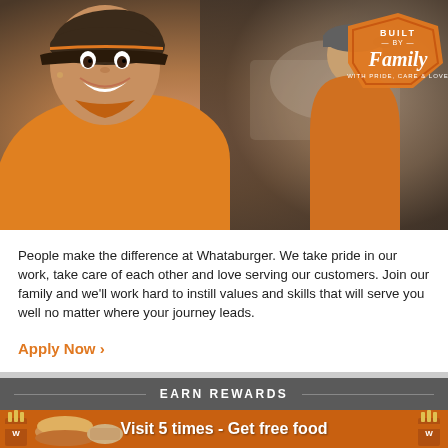[Figure (photo): Smiling female Whataburger employee in orange shirt and dark cap in foreground; male employee working in background; restaurant kitchen setting; 'Built by Family – With Pride, Care & Love' badge in top-right corner]
People make the difference at Whataburger. We take pride in our work, take care of each other and love serving our customers. Join our family and we'll work hard to instill values and skills that will serve you well no matter where your journey leads.
Apply Now >
EARN REWARDS
Visit 5 times - Get free food